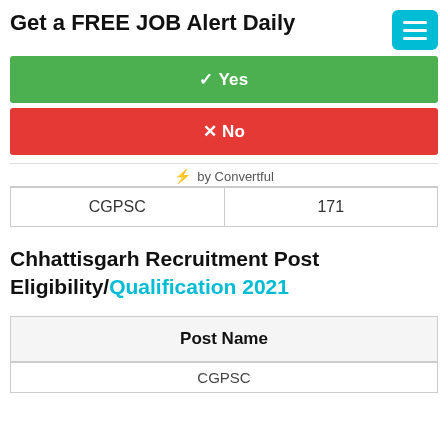Get a FREE JOB Alert Daily
✓ Yes
✕ No
⚡ by Convertful
| CGPSC | 171 |
Chhattisgarh Recruitment Post Eligibility/Qualification 2021
| Post Name |
| --- |
| CGPSC |